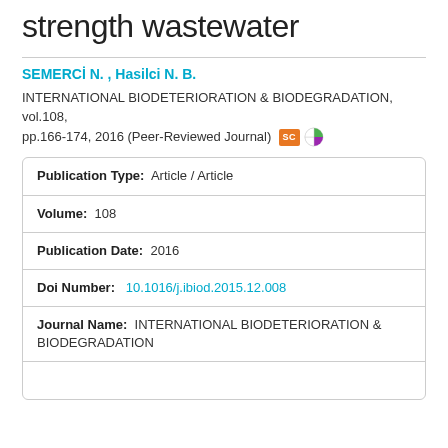strength wastewater
SEMERCİ N. , Hasilci N. B.
INTERNATIONAL BIODETERIORATION & BIODEGRADATION, vol.108, pp.166-174, 2016 (Peer-Reviewed Journal)
| Field | Value |
| --- | --- |
| Publication Type: | Article / Article |
| Volume: | 108 |
| Publication Date: | 2016 |
| Doi Number: | 10.1016/j.ibiod.2015.12.008 |
| Journal Name: | INTERNATIONAL BIODETERIORATION & BIODEGRADATION |